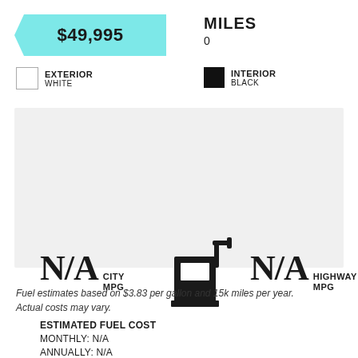$49,995
MILES
0
EXTERIOR WHITE
INTERIOR BLACK
[Figure (infographic): Fuel economy box showing N/A city MPG, gas pump icon, N/A highway MPG, estimated fuel cost monthly N/A, annually N/A]
Fuel estimates based on $3.83 per gallon and 15k miles per year. Actual costs may vary.